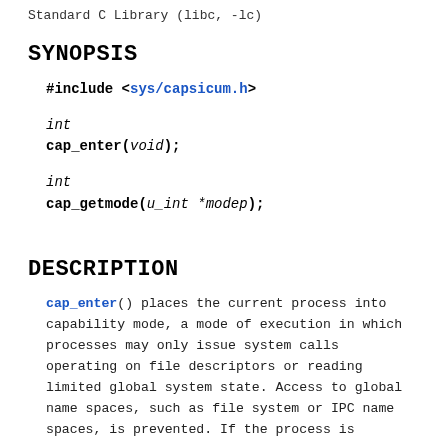Standard C Library (libc, -lc)
SYNOPSIS
#include <sys/capsicum.h>

int
cap_enter(void);

int
cap_getmode(u_int *modep);
DESCRIPTION
cap_enter() places the current process into capability mode, a mode of execution in which processes may only issue system calls operating on file descriptors or reading limited global system state. Access to global name spaces, such as file system or IPC name spaces, is prevented. If the process is